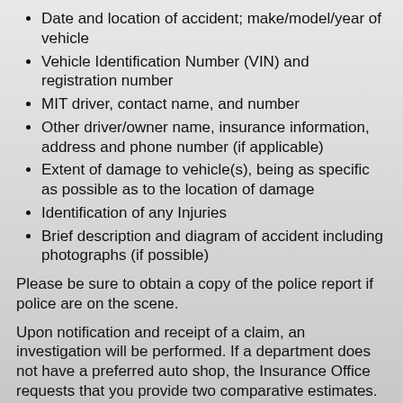Date and location of accident; make/model/year of vehicle
Vehicle Identification Number (VIN) and registration number
MIT driver, contact name, and number
Other driver/owner name, insurance information, address and phone number (if applicable)
Extent of damage to vehicle(s), being as specific as possible as to the location of damage
Identification of any Injuries
Brief description and diagram of accident including photographs (if possible)
Please be sure to obtain a copy of the police report if police are on the scene.
Upon notification and receipt of a claim, an investigation will be performed. If a department does not have a preferred auto shop, the Insurance Office requests that you provide two comparative estimates.